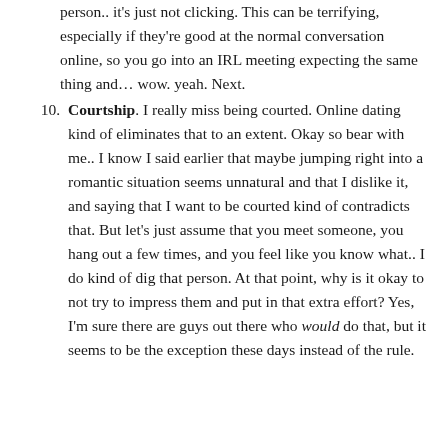person.. it's just not clicking. This can be terrifying, especially if they're good at the normal conversation online, so you go into an IRL meeting expecting the same thing and... wow. yeah. Next.
10. Courtship. I really miss being courted. Online dating kind of eliminates that to an extent. Okay so bear with me.. I know I said earlier that maybe jumping right into a romantic situation seems unnatural and that I dislike it, and saying that I want to be courted kind of contradicts that. But let's just assume that you meet someone, you hang out a few times, and you feel like you know what.. I do kind of dig that person. At that point, why is it okay to not try to impress them and put in that extra effort? Yes, I'm sure there are guys out there who would do that, but it seems to be the exception these days instead of the rule.